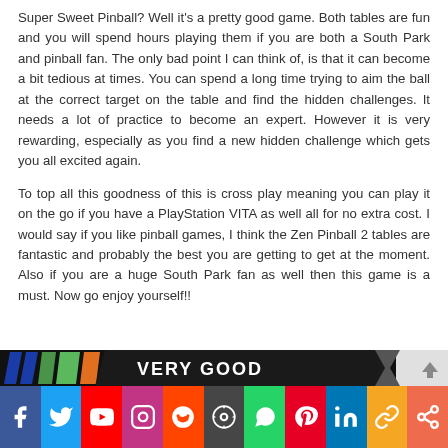Super Sweet Pinball? Well it's a pretty good game. Both tables are fun and you will spend hours playing them if you are both a South Park and pinball fan. The only bad point I can think of, is that it can become a bit tedious at times. You can spend a long time trying to aim the ball at the correct target on the table and find the hidden challenges. It needs a lot of practice to become an expert. However it is very rewarding, especially as you find a new hidden challenge which gets you all excited again.

To top all this goodness of this is cross play meaning you can play it on the go if you have a PlayStation VITA as well all for no extra cost. I would say if you like pinball games, I think the Zen Pinball 2 tables are fantastic and probably the best you are getting to get at the moment. Also if you are a huge South Park fan as well then this game is a must. Now go enjoy yourself!!
[Figure (infographic): Rating banner showing 'VERY GOOD' in white text on black background with decorative colored stripes (blue, green, orange)]
[Figure (infographic): Social media sharing bar with icons for Facebook, Twitter, YouTube, Instagram, Reddit, WordPress, WhatsApp, Pinterest, LinkedIn, chain link, and share button]